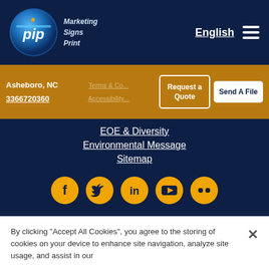pip Marketing Signs Print | English | Menu
Asheboro, NC
3366720360
Terms & Co... | Accessibility...
Request a Quote
Send A File
EOE & Diversity
Environmental Message
Sitemap
[Figure (illustration): Social media icons row: Facebook, Twitter, LinkedIn, YouTube, Flickr — orange circles with dark icons]
By clicking “Accept All Cookies”, you agree to the storing of cookies on your device to enhance site navigation, analyze site usage, and assist in our